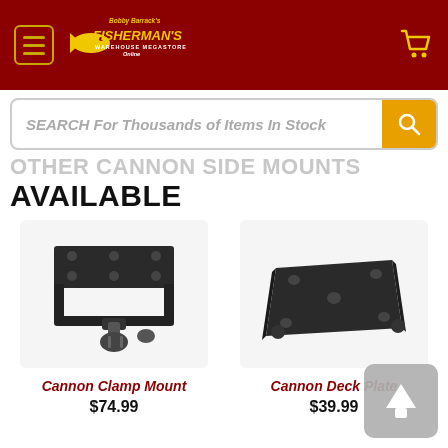Bobby Barrack's Fisherman's Warehouse Megastore Online
SEARCH For Thousands of Items In Stock
OTHER CANNON SIDE MOUNTS AVAILABLE
[Figure (photo): Cannon Clamp Mount product photo - black metal clamp mount with adjustment knob]
Cannon Clamp Mount
$74.99
[Figure (photo): Cannon Deck Plate product photo - black flat square plate with mounting holes]
Cannon Deck Plate
$39.99